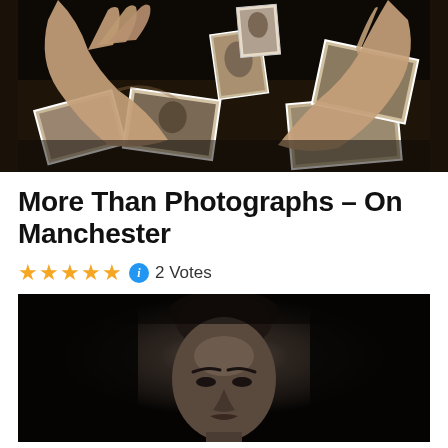[Figure (photo): Hands sorting through scattered old black-and-white photographs on a dark surface, sepia-toned scene]
More Than Photographs – On Manchester
★★★★★ ⓘ 2 Votes
[Figure (photo): Black and white close-up portrait of a person with hair pulled back, dramatic dark background with strong facial lighting]